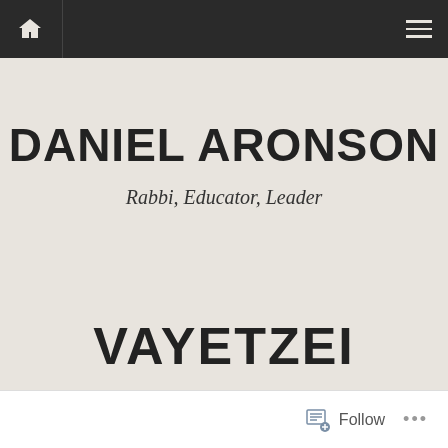DANIEL ARONSON
Rabbi, Educator, Leader
VAYETZEI
Follow ...